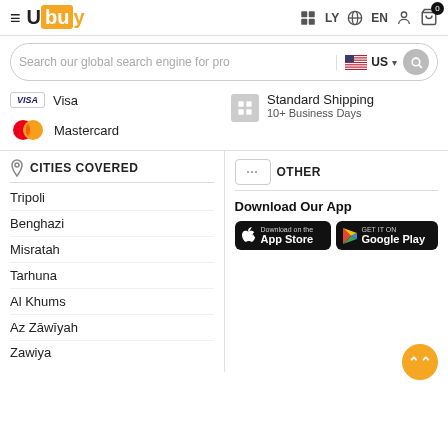Ubuy – LY EN header with search bar
Visa
Mastercard
Standard Shipping
10+ Business Days
CITIES COVERED
Tripoli
Benghazi
Misratah
Tarhuna
Al Khums
Az Zāwīyah
Zawiya
OTHER
Download Our App
[Figure (screenshot): App Store and Google Play download buttons]